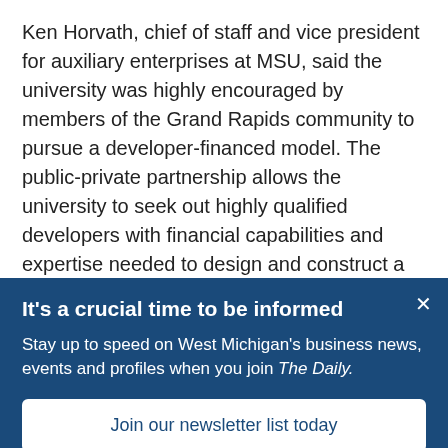Ken Horvath, chief of staff and vice president for auxiliary enterprises at MSU, said the university was highly encouraged by members of the Grand Rapids community to pursue a developer-financed model. The public-private partnership allows the university to seek out highly qualified developers with financial capabilities and expertise needed to design and construct a research laboratory.
With a traditional university-financed model, Michigan State
It's a crucial time to be informed
Stay up to date on West Michigan's business news, events and profiles when you join The Daily.
Join our newsletter list today